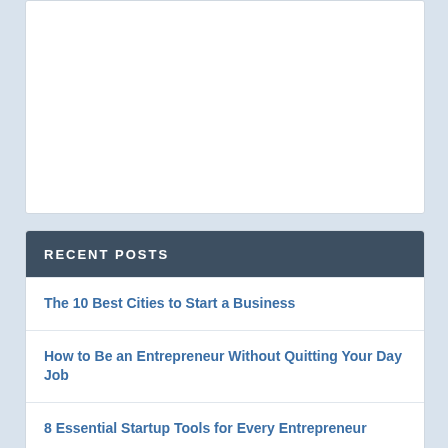[Figure (other): White empty content box area]
RECENT POSTS
The 10 Best Cities to Start a Business
How to Be an Entrepreneur Without Quitting Your Day Job
8 Essential Startup Tools for Every Entrepreneur